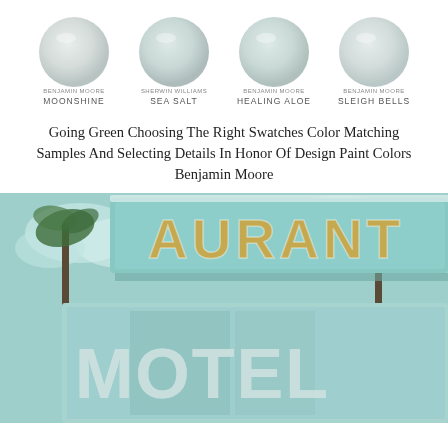[Figure (infographic): Four paint color swatches (circles) with brand and name labels: Benjamin Moore Moonshine, Sherwin Williams Sea Salt, Benjamin Moore Healing Aloe, Benjamin Moore Sleigh Bells]
Going Green Choosing The Right Swatches Color Matching Samples And Selecting Details In Honor Of Design Paint Colors Benjamin Moore
[Figure (photo): Vintage motel and restaurant sign in teal/light blue with gold lettering and white 'MOTEL' text, palm trees in background, retro Americana aesthetic]